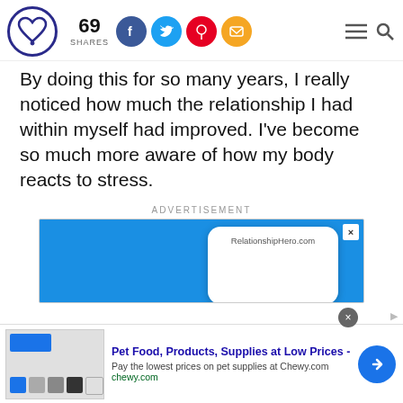69 SHARES
By doing this for so many years, I really noticed how much the relationship I had within myself had improved. I've become so much more aware of how my body reacts to stress.
ADVERTISEMENT
[Figure (screenshot): Blue advertisement banner for RelationshipHero.com with white phone card overlay and close button]
[Figure (screenshot): Bottom ad banner: Pet Food, Products, Supplies at Low Prices - chewy.com with blue arrow circle button]